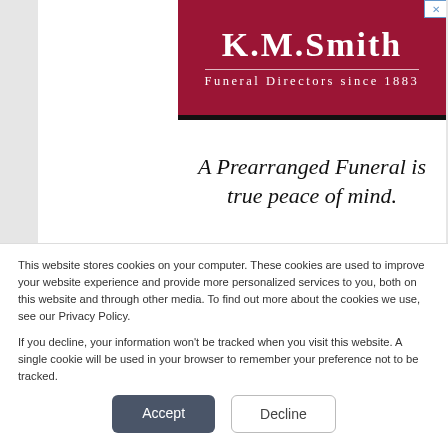[Figure (logo): K.M.Smith Funeral Directors since 1883 advertisement banner with dark red background and italic tagline 'A Prearranged Funeral is true peace of mind.']
This website stores cookies on your computer. These cookies are used to improve your website experience and provide more personalized services to you, both on this website and through other media. To find out more about the cookies we use, see our Privacy Policy.
If you decline, your information won't be tracked when you visit this website. A single cookie will be used in your browser to remember your preference not to be tracked.